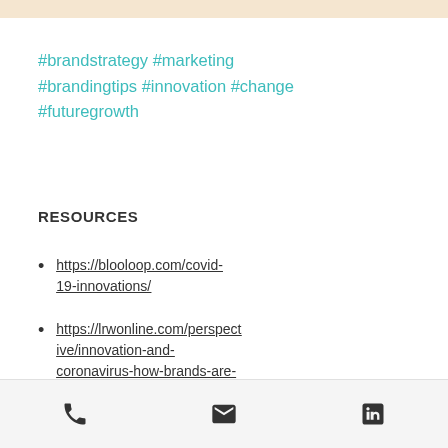#brandstrategy #marketing #brandingtips #innovation #change #futuregrowth
RESOURCES
https://blooloop.com/covid-19-innovations/
https://lrwonline.com/perspective/innovation-and-coronavirus-how-brands-are-adjusting-to-the-pandemic/
https://pacificlegal.org/companies-innovating-during-covid-
[phone] [email] [linkedin]